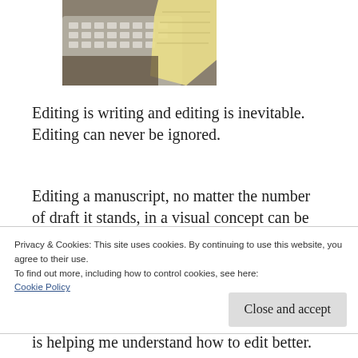[Figure (photo): Photo of a keyboard with yellow notepad paper on top, viewed from above at an angle]
Editing is writing and editing is inevitable. Editing can never be ignored.
Editing a manuscript, no matter the number of draft it stands, in a visual concept can be looked at as reshoots. I’m calling my edits, at this stage in book 1, reshoots because of one
Privacy & Cookies: This site uses cookies. By continuing to use this website, you agree to their use.
To find out more, including how to control cookies, see here:
Cookie Policy
is helping me understand how to edit better. To